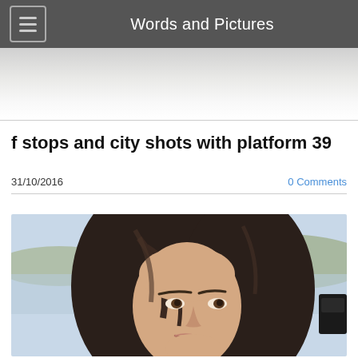Words and Pictures
f stops and city shots with platform 39
31/10/2016
0 Comments
[Figure (photo): Close-up portrait of a young woman with long dark hair, smiling slightly, with a water and hilly landscape in the background. Outdoor setting, natural light.]